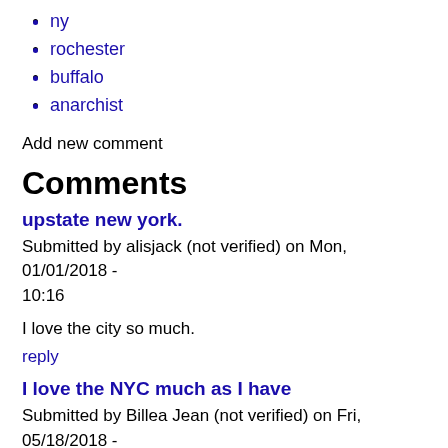ny
rochester
buffalo
anarchist
Add new comment
Comments
upstate new york.
Submitted by alisjack (not verified) on Mon, 01/01/2018 - 10:16
I love the city so much.
reply
I love the NYC much as I have
Submitted by Billea Jean (not verified) on Fri, 05/18/2018 -